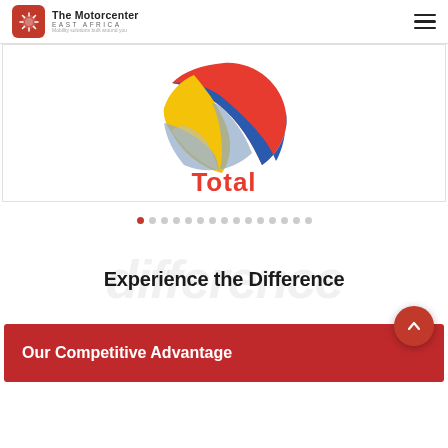The Motorcenter EAST AFRICA — Mobility solutions built around you
[Figure (logo): Total oil company logo — colorful sphere with red, blue, yellow, grey segments and 'Total' text in red below]
[Figure (other): Carousel pagination dots — 15 dots, first one active/red]
Experience the Difference
Our Competitive Advantage